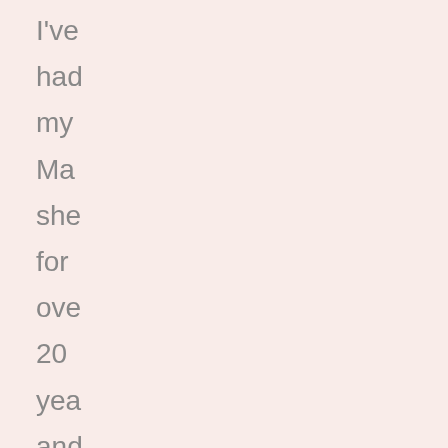I've had my Ma she for ove 20 yea and my Gin em sci for pro just as lon I tak goo car